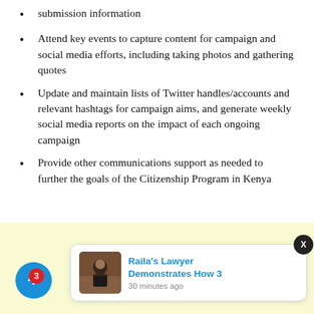submission information
Attend key events to capture content for campaign and social media efforts, including taking photos and gathering quotes
Update and maintain lists of Twitter handles/accounts and relevant hashtags for campaign aims, and generate weekly social media reports on the impact of each ongoing campaign
Provide other communications support as needed to further the goals of the Citizenship Program in Kenya
Citizenship Program – Partner Capacity Building and Programmatic Support (20%)
[Figure (screenshot): Web notification popup showing 'Raila's Lawyer Demonstrates How 3' posted 30 minutes ago, with a photo of a man in a courtroom, a blue bell notification button with badge count 3, and an X close button]